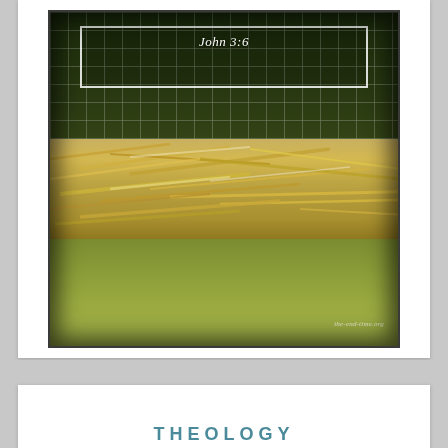[Figure (photo): A stylized photograph with a grid overlay on a dark background (trees/foliage) in the upper portion, a white rectangular border inset containing the text 'John 3:6', and scattered straw/crop debris in the middle with green grass at the bottom. A watermark reading 'the-end-time.org' appears in the lower right corner.]
THEOLOGY